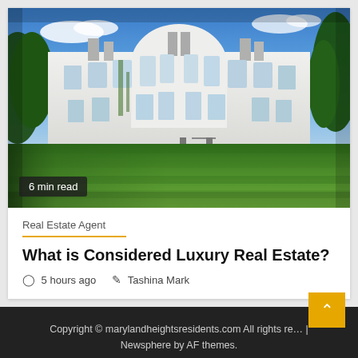[Figure (photo): Large white Georgian/Regency style manor house with symmetrical facade, multiple chimneys, large windows, ivy climbing the walls, wide manicured green lawn in foreground, blue sky with scattered clouds, trees on either side]
6 min read
Real Estate Agent
What is Considered Luxury Real Estate?
5 hours ago   Tashina Mark
Copyright © marylandheightsresidents.com All rights reserved | Newsphere by AF themes.